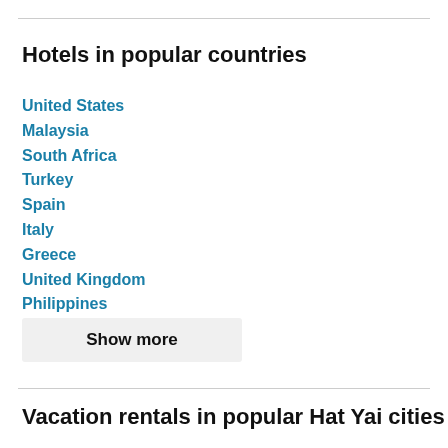Hotels in popular countries
United States
Malaysia
South Africa
Turkey
Spain
Italy
Greece
United Kingdom
Philippines
United Arab Emirates
Show more
Vacation rentals in popular Hat Yai cities